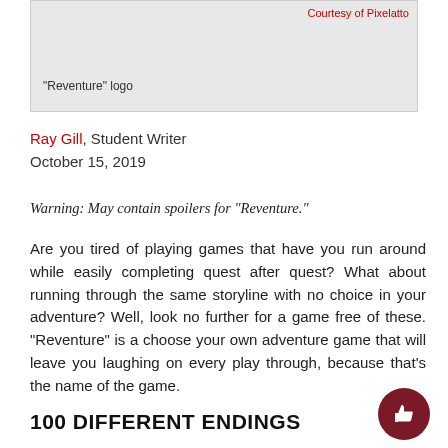[Figure (other): Grey placeholder box for 'Reventure' logo image with 'Courtesy of Pixelatto' credit in red top-right]
“Reventure” logo
Ray Gill, Student Writer
October 15, 2019
Warning: May contain spoilers for “Reventure.”
Are you tired of playing games that have you run around while easily completing quest after quest? What about running through the same storyline with no choice in your adventure? Well, look no further for a game free of these. “Reventure” is a choose your own adventure game that will leave you laughing on every play through, because that’s the name of the game.
100 DIFFERENT ENDINGS